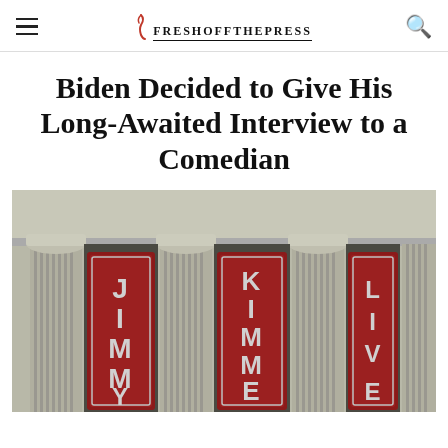FreshOffThePress
Biden Decided to Give His Long-Awaited Interview to a Comedian
[Figure (photo): Exterior of the Jimmy Kimmel Live theater building showing classical columns with three red vertical banners reading JIMMY, KIMMEL, LIVE in white letters]